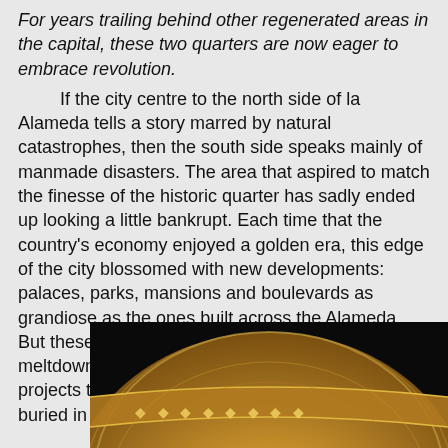For years trailing behind other regenerated areas in the capital, these two quarters are now eager to embrace revolution. If the city centre to the north side of la Alameda tells a story marred by natural catastrophes, then the south side speaks mainly of manmade disasters. The area that aspired to match the finesse of the historic quarter has sadly ended up looking a little bankrupt. Each time that the country's economy enjoyed a golden era, this edge of the city blossomed with new developments: palaces, parks, mansions and boulevards as grandiose as the ones built across the Alameda. But these barrios took the brunt of each economic meltdown of the 19th and 20th century, forcing big projects to be abandoned and hopes to be slowly buried in time.
[Figure (photo): Close-up photograph of a golden ornamental dome or architectural detail with decorative lettering/inscription, on a dark background, partially cropped at bottom of page.]